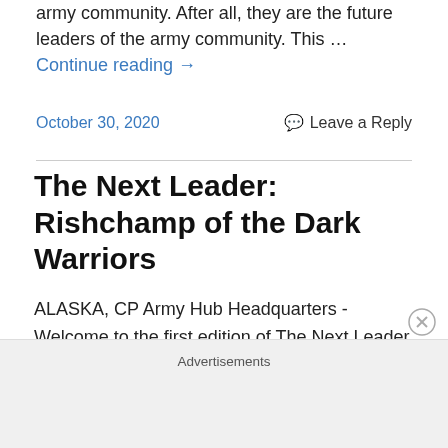army community. After all, they are the future leaders of the army community. This … Continue reading →
October 30, 2020    Leave a Reply
The Next Leader: Rishchamp of the Dark Warriors
ALASKA, CP Army Hub Headquarters - Welcome to the first edition of The Next Leader, written by Reporter Kally. In this weekly column, the CP Army Hub staff acquaints themselves with the Leaders-in-Training of our army community. After all, they are the future leaders of the
Advertisements